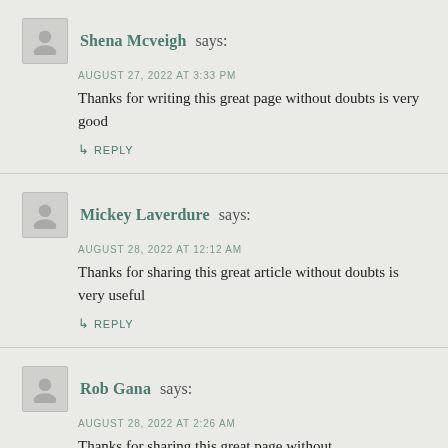Shena Mcveigh says:
AUGUST 27, 2022 AT 3:33 PM
Thanks for writing this great page without doubts is very good
↳ REPLY
Mickey Laverdure says:
AUGUST 28, 2022 AT 12:12 AM
Thanks for sharing this great article without doubts is very useful
↳ REPLY
Rob Gana says:
AUGUST 28, 2022 AT 2:26 AM
Thanks for sharing this great page without